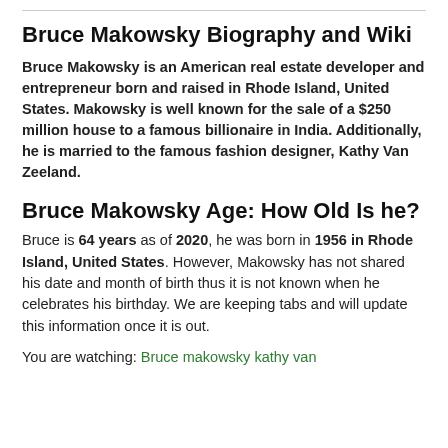Bruce Makowsky Biography and Wiki
Bruce Makowsky is an American real estate developer and entrepreneur born and raised in Rhode Island, United States. Makowsky is well known for the sale of a $250 million house to a famous billionaire in India. Additionally, he is married to the famous fashion designer, Kathy Van Zeeland.
Bruce Makowsky Age: How Old Is he?
Bruce is 64 years as of 2020, he was born in 1956 in Rhode Island, United States. However, Makowsky has not shared his date and month of birth thus it is not known when he celebrates his birthday. We are keeping tabs and will update this information once it is out.
You are watching: Bruce makowsky kathy van